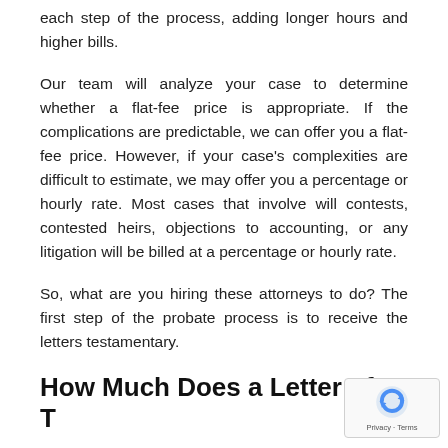each step of the process, adding longer hours and higher bills.
Our team will analyze your case to determine whether a flat-fee price is appropriate. If the complications are predictable, we can offer you a flat-fee price. However, if your case's complexities are difficult to estimate, we may offer you a percentage or hourly rate. Most cases that involve will contests, contested heirs, objections to accounting, or any litigation will be billed at a percentage or hourly rate.
So, what are you hiring these attorneys to do? The first step of the probate process is to receive the letters testamentary.
How Much Does a Letter of Testamentary Cost?